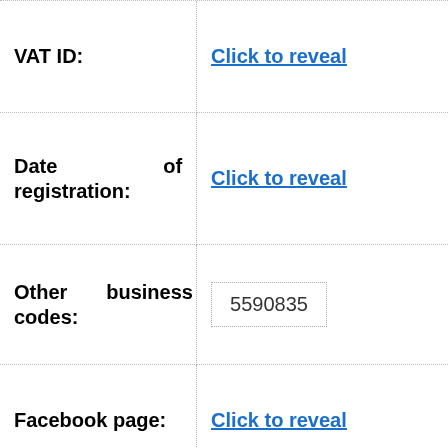VAT ID:
Click to reveal
Date of registration:
Click to reveal
Other business codes:
5590835
Facebook page:
Click to reveal
[Figure (other): QR code]